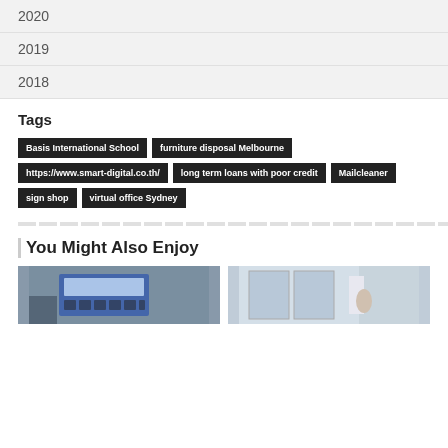2020
2019
2018
Tags
Basis International School
furniture disposal Melbourne
https://www.smart-digital.co.th/
long term loans with poor credit
Mailcleaner
sign shop
virtual office Sydney
You Might Also Enjoy
[Figure (photo): Two thumbnail images side by side: left shows an electronic device with a keypad/display, right shows an interior room with windows and a person.]